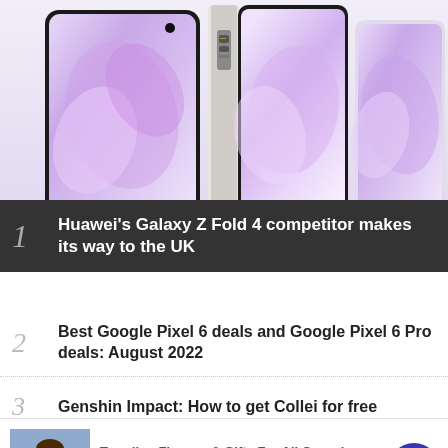[Figure (photo): Three Huawei foldable smartphones displayed side by side showing lavender/purple floral wallpaper on screens, against a light purple/white gradient background]
1 Huawei's Galaxy Z Fold 4 competitor makes its way to the UK
2 Best Google Pixel 6 deals and Google Pixel 6 Pro deals: August 2022
3 Genshin Impact: How to get Collei for free
[Figure (photo): Advertisement: Woman with flowers. Trending Flowers & Gifts For All Occasions. Shop The Collection. www.1800flowers.com]